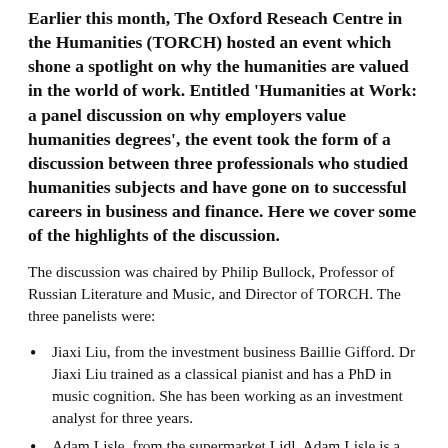Earlier this month, The Oxford Reseach Centre in the Humanities (TORCH) hosted an event which shone a spotlight on why the humanities are valued in the world of work. Entitled 'Humanities at Work: a panel discussion on why employers value humanities degrees', the event took the form of a discussion between three professionals who studied humanities subjects and have gone on to successful careers in business and finance. Here we cover some of the highlights of the discussion.
The discussion was chaired by Philip Bullock, Professor of Russian Literature and Music, and Director of TORCH. The three panelists were:
Jiaxi Liu, from the investment business Baillie Gifford. Dr Jiaxi Liu trained as a classical pianist and has a PhD in music cognition. She has been working as an investment analyst for three years.
Adam Lisle, from the supermarket Lidl. Adam Lisle is a